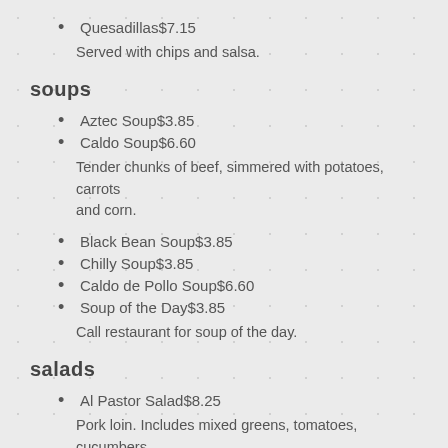Quesadillas$7.15
Served with chips and salsa.
soups
Aztec Soup$3.85
Caldo Soup$6.60
Tender chunks of beef, simmered with potatoes, carrots and corn.
Black Bean Soup$3.85
Chilly Soup$3.85
Caldo de Pollo Soup$6.60
Soup of the Day$3.85
Call restaurant for soup of the day.
salads
Al Pastor Salad$8.25
Pork loin. Includes mixed greens, tomatoes, cucumbers.